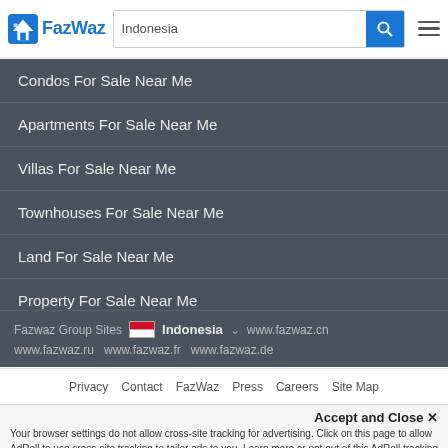FazWaz | Indonesia
Condos For Sale Near Me
Apartments For Sale Near Me
Villas For Sale Near Me
Townhouses For Sale Near Me
Land For Sale Near Me
Property For Sale Near Me
Fazwaz Group Sites  Indonesia  www.fazwaz.cn  www.fazwaz.ru  www.fazwaz.fr  www.fazwaz.de
Privacy  Contact  FazWaz  Press  Careers  Site Map
Accept and Close ✕
Your browser settings do not allow cross-site tracking for advertising. Click on this page to allow AdRoll to use cross-site tracking to tailor ads to you. Learn more or opt out of this AdRoll tracking by clicking here. This message only appears once.